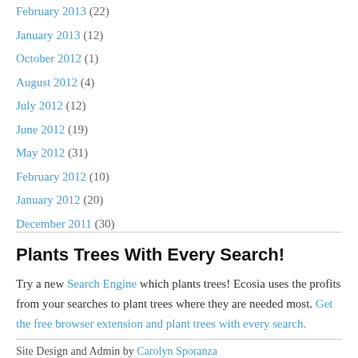February 2013 (22)
January 2013 (12)
October 2012 (1)
August 2012 (4)
July 2012 (12)
June 2012 (19)
May 2012 (31)
February 2012 (10)
January 2012 (20)
December 2011 (30)
Plants Trees With Every Search!
Try a new Search Engine which plants trees! Ecosia uses the profits from your searches to plant trees where they are needed most. Get the free browser extension and plant trees with every search.
Site Design and Admin by Carolyn Sporanza